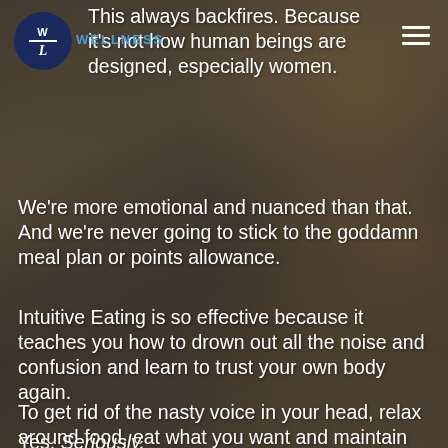[Figure (photo): Background photo of food spread including skewers with cherry tomatoes and other appetizers, sliced melon with prosciutto on a dark plate, and a small bowl — all on a wooden board. Dark overlay applied.]
This always backfires. Because it's not how human beings are designed, especially women.
We're more emotional and nuanced than that. And we're never going to stick to the goddamn meal plan or points allowance.
Intuitive Eating is so effective because it teaches you how to drown out all the noise and confusion and learn to trust your own body again.
To get rid of the nasty voice in your head, relax around food, eat what you want and maintain your ideal weight.
Yes. Seriously.